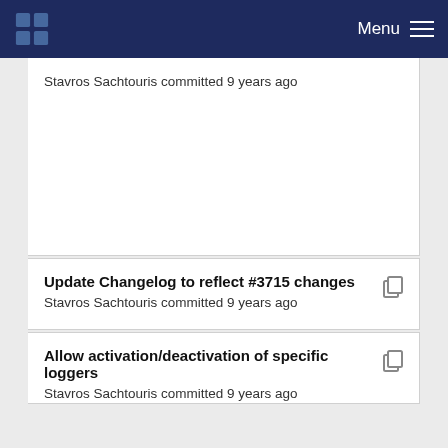Menu
Stavros Sachtouris committed 9 years ago
Update Changelog to reflect #3715 changes
Stavros Sachtouris committed 9 years ago
Allow activation/deactivation of specific loggers
Stavros Sachtouris committed 9 years ago